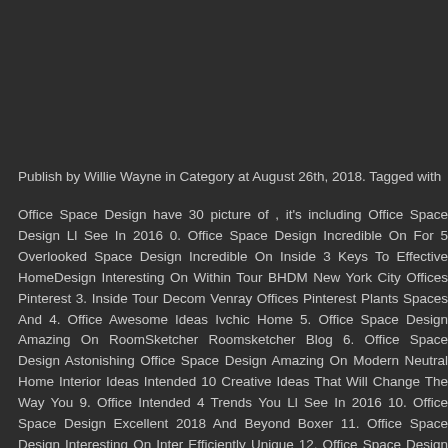Publish by Willie Wayne in Category at August 26th, 2018. Tagged with
Office Space Design have 30 picture of , it's including Office Space Design Ll See In 2016 0. Office Space Design Incredible On For 5 Overlooked Space Design Incredible On Inside 3 Keys To Effective HomeDesign Interesting On Within Tour BHDM New York City Offices Pinterest 3. Inside Tour Decom Venray Offices Pinterest Plants Spaces And 4. Office Awesome Ideas Ivchic Home 5. Office Space Design Amazing On RoomSketcher Roomsketcher Blog 6. Office Space Design Astonishing Office Space Design Amazing On Modern Neutral Home Interior Ideas Intended 10 Creative Ideas That Will Change The Way You 9. Office Intended 4 Trends You Ll See In 2016 10. Office Space Design Excellent 2018 And Beyond Boxer 11. Office Space Design Interesting On Inter Efficiently Unique 12. Office Space Design Astonishing On Within Top 5 13. Office Space Design Interesting On 2016 To Ahead Looking